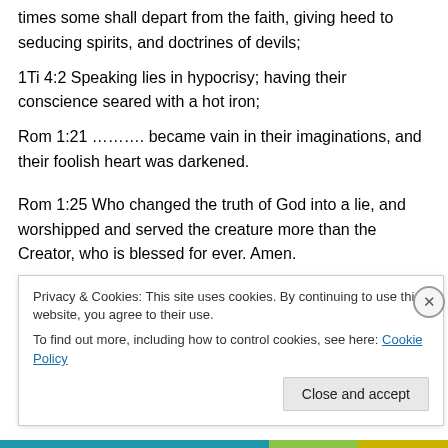times some shall depart from the faith, giving heed to seducing spirits, and doctrines of devils;
1Ti 4:2 Speaking lies in hypocrisy; having their conscience seared with a hot iron;
Rom 1:21 ………. became vain in their imaginations, and their foolish heart was darkened.
Rom 1:25 Who changed the truth of God into a lie, and worshipped and served the creature more than the Creator, who is blessed for ever. Amen.
2Ti 3:7 Ever learning, and never able to come to the
Privacy & Cookies: This site uses cookies. By continuing to use this website, you agree to their use.
To find out more, including how to control cookies, see here: Cookie Policy